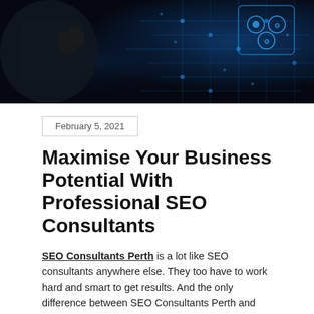[Figure (photo): Dark technology-themed banner image showing a hand pointing at glowing digital circuit board patterns with blue neon lights on black background]
February 5, 2021
Maximise Your Business Potential With Professional SEO Consultants
SEO Consultants Perth is a lot like SEO consultants anywhere else. They too have to work hard and smart to get results. And the only difference between SEO Consultants Perth and other SEO consulting firms is that they work smarter. This article will tell you why SEO Consultants Perth is smarter than your average SEO consultant.